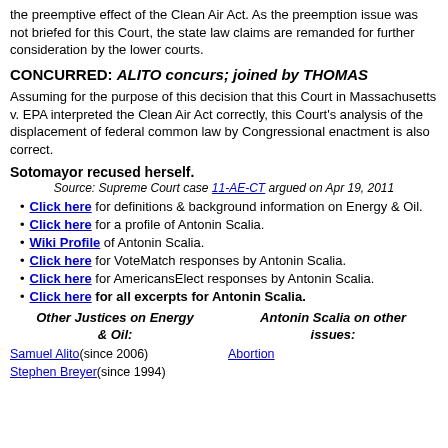the preemptive effect of the Clean Air Act. As the preemption issue was not briefed for this Court, the state law claims are remanded for further consideration by the lower courts.
CONCURRED: ALITO concurs; joined by THOMAS
Assuming for the purpose of this decision that this Court in Massachusetts v. EPA interpreted the Clean Air Act correctly, this Court's analysis of the displacement of federal common law by Congressional enactment is also correct.
Sotomayor recused herself.
Source: Supreme Court case 11-AE-CT argued on Apr 19, 2011
Click here for definitions & background information on Energy & Oil.
Click here for a profile of Antonin Scalia.
Wiki Profile of Antonin Scalia.
Click here for VoteMatch responses by Antonin Scalia.
Click here for AmericansElect responses by Antonin Scalia.
Click here for all excerpts for Antonin Scalia.
Other Justices on Energy & Oil:
Antonin Scalia on other issues:
Samuel Alito(since 2006)
Stephen Breyer(since 1994)
Abortion